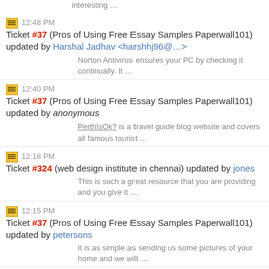interesting …
12:48 PM Ticket #37 (Pros of Using Free Essay Samples Paperwall101) updated by Harshal Jadhav <harshhj96@…>
Norton Antivirus ensures your PC by checking it continually. It …
12:40 PM Ticket #37 (Pros of Using Free Essay Samples Paperwall101) updated by anonymous
PerthIsOk? is a travel guide blog website and covers all famous tourist …
12:18 PM Ticket #324 (web design institute in chennai) updated by jones
This is such a great resource that you are providing and you give it …
12:15 PM Ticket #37 (Pros of Using Free Essay Samples Paperwall101) updated by petersons
It is as simple as sending us some pictures of your home and we will …
10:32 AM Ticket #143 (cenforce 100) updated by Mtom
I am glad that I found this website – exactly the right …